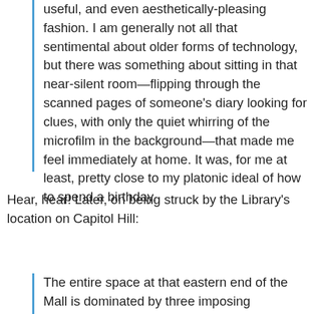useful, and even aesthetically-pleasing fashion. I am generally not all that sentimental about older forms of technology, but there was something about sitting in that near-silent room—flipping through the scanned pages of someone's diary looking for clues, with only the quiet whirring of the microfilm in the background—that made me feel immediately at home. It was, for me at least, pretty close to my platonic ideal of how to spend a birthday.
Hear, hear! Later, on being struck by the Library's location on Capitol Hill:
The entire space at that eastern end of the Mall is dominated by three imposing structures: